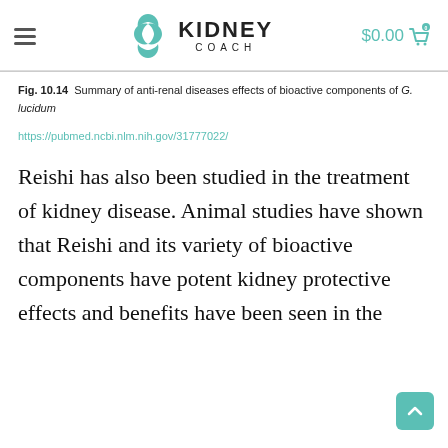KIDNEY COACH — $0.00 cart
Fig. 10.14  Summary of anti-renal diseases effects of bioactive components of G. lucidum
https://pubmed.ncbi.nlm.nih.gov/31777022/
Reishi has also been studied in the treatment of kidney disease. Animal studies have shown that Reishi and its variety of bioactive components have potent kidney protective effects and benefits have been seen in the